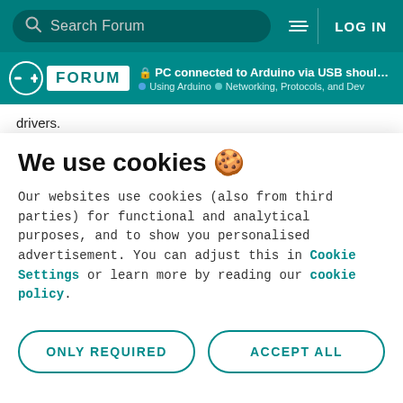Search Forum | LOG IN
PC connected to Arduino via USB should r... | Using Arduino | Networking, Protocols, and Dev
drivers.
So when the end user will login to secure area:
web browser will call by AJAX/Angular http request to
We use cookies 🍪
Our websites use cookies (also from third parties) for functional and analytical purposes, and to show you personalised advertisement. You can adjust this in Cookie Settings or learn more by reading our cookie policy.
ONLY REQUIRED | ACCEPT ALL